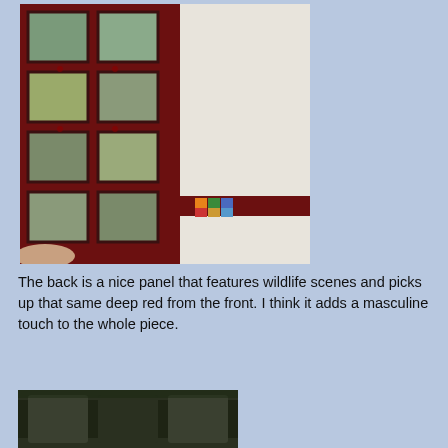[Figure (photo): A quilt displayed showing the back panel with wildlife scenes in a grid pattern with deep red borders. The right side shows the white backing fabric and a partial row of colorful star quilt blocks at the bottom.]
The back is a nice panel that features wildlife scenes and picks up that same deep red from the front. I think it adds a masculine touch to the whole piece.
[Figure (photo): Partial view of a quilt or quilted item photographed outdoors, dark tones visible at bottom of page.]